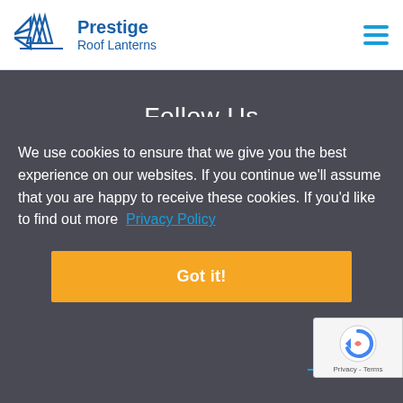[Figure (logo): Prestige Roof Lanterns logo with stylized roof lantern icon in blue and company name]
Follow Us
We use cookies to ensure that we give you the best experience on our websites. If you continue we'll assume that you are happy to receive these cookies. If you'd like to find out more  Privacy Policy
Got it!